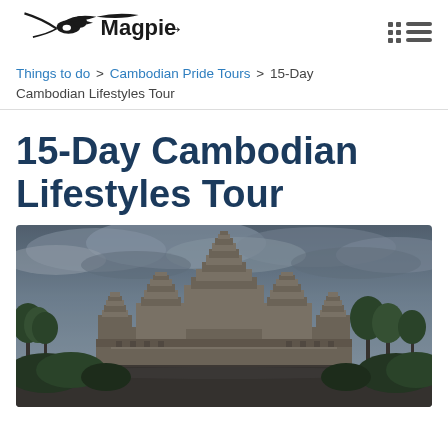Magpie [logo] [navigation icon]
Things to do > Cambodian Pride Tours > 15-Day Cambodian Lifestyles Tour
15-Day Cambodian Lifestyles Tour
[Figure (photo): Angkor Wat temple complex in Cambodia under a dramatic cloudy sky, with palm trees and lush greenery in the foreground.]